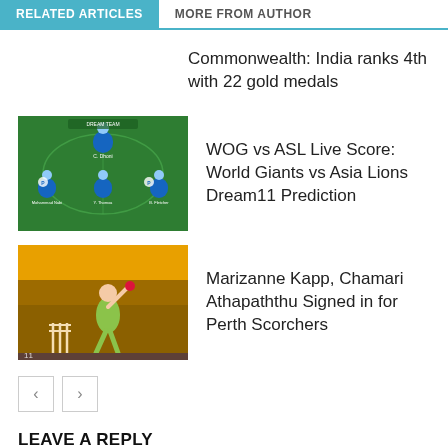RELATED ARTICLES
MORE FROM AUTHOR
Commonwealth: India ranks 4th with 22 gold medals
[Figure (photo): Cricket fantasy team selection screen on green background showing player formations]
WOG vs ASL Live Score: World Giants vs Asia Lions Dream11 Prediction
[Figure (photo): Cricket player bowling in yellow/green uniform on a cricket field]
Marizanne Kapp, Chamari Athapaththu Signed in for Perth Scorchers
LEAVE A REPLY